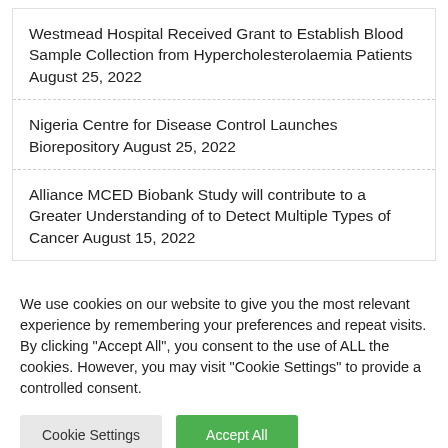Westmead Hospital Received Grant to Establish Blood Sample Collection from Hypercholesterolaemia Patients August 25, 2022
Nigeria Centre for Disease Control Launches Biorepository August 25, 2022
Alliance MCED Biobank Study will contribute to a Greater Understanding of to Detect Multiple Types of Cancer August 15, 2022
We use cookies on our website to give you the most relevant experience by remembering your preferences and repeat visits. By clicking "Accept All", you consent to the use of ALL the cookies. However, you may visit "Cookie Settings" to provide a controlled consent.